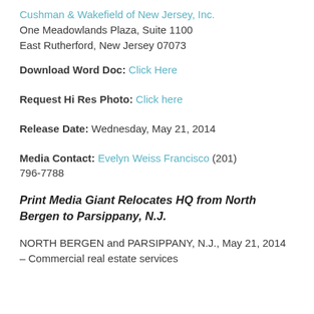Cushman & Wakefield of New Jersey, Inc.
One Meadowlands Plaza, Suite 1100
East Rutherford, New Jersey 07073
Download Word Doc: Click Here
Request Hi Res Photo: Click here
Release Date: Wednesday, May 21, 2014
Media Contact: Evelyn Weiss Francisco (201) 796-7788
Print Media Giant Relocates HQ from North Bergen to Parsippany, N.J.
NORTH BERGEN and PARSIPPANY, N.J., May 21, 2014 – Commercial real estate services